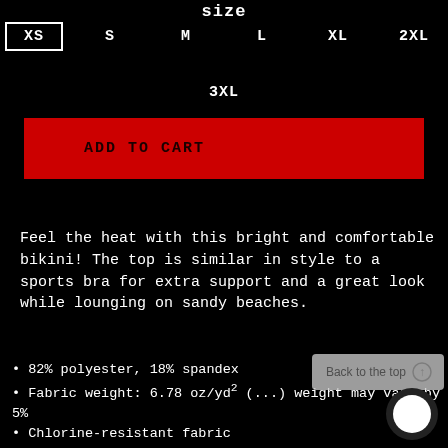size
XS  S  M  L  XL  2XL  3XL
ADD TO CART
Feel the heat with this bright and comfortable bikini! The top is similar in style to a sports bra for extra support and a great look while lounging on sandy beaches.
82% polyester, 18% spandex
Fabric weight: 6.78 oz/yd² (…) weight may vary by 5%
Chlorine-resistant fabric